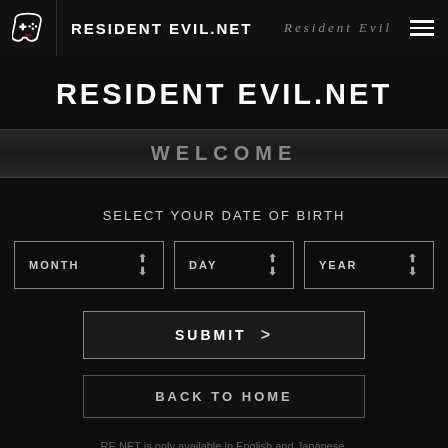RESIDENT EVIL.NET | Resident Evil
RESIDENT EVIL.NET
WELCOME
SELECT YOUR DATE OF BIRTH
MONTH  DAY  YEAR
SUBMIT >
BACK TO HOME
RE NET is only available in English and Japanese.